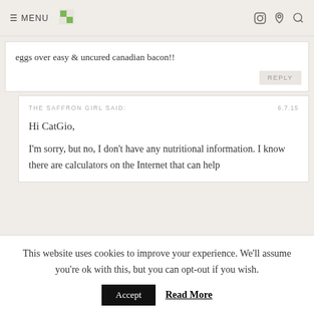≡ MENU
eggs over easy & uncured canadian bacon!!
REPLY
THE SAFFRON GIRL SAID:
6.7.15
Hi CatGio,
I'm sorry, but no, I don't have any nutritional information. I know there are calculators on the Internet that can help
This website uses cookies to improve your experience. We'll assume you're ok with this, but you can opt-out if you wish.
Accept
Read More